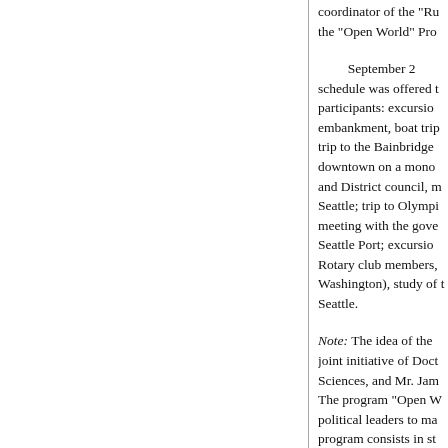coordinator of the "Ru... the "Open World" Pro...
September 2 schedule was offered to participants: excursion embankment, boat trip trip to the Bainbridge downtown on a mono and District council, m Seattle; trip to Olympi meeting with the gove Seattle Port; excursion Rotary club members, Washington), study of th Seattle.
Note: The idea of the joint initiative of Doct Sciences, and Mr. Jam The program "Open W political leaders to ma program consists in st countries by way of gi